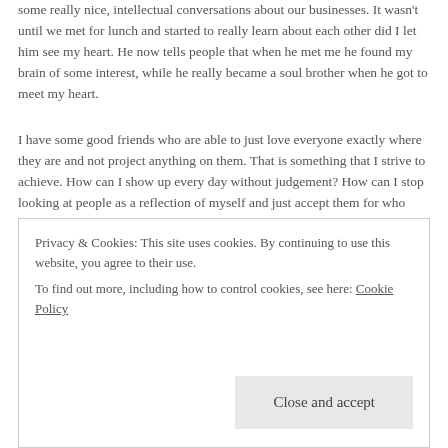some really nice, intellectual conversations about our businesses. It wasn't until we met for lunch and started to really learn about each other did I let him see my heart. He now tells people that when he met me he found my brain of some interest, while he really became a soul brother when he got to meet my heart.
I have some good friends who are able to just love everyone exactly where they are and not project anything on them. That is something that I strive to achieve. How can I show up every day without judgement? How can I stop looking at people as a reflection of myself and just accept them for who they are? This is part of my work, to just be present and not see people as my mirror. It might sound pretty easy, but I can tell you that it's not. In the end, I might not want to spend much time with them and not choose for them to be one of my best friends, but the bigger issue is my judgment. I'm learning that the
Privacy & Cookies: This site uses cookies. By continuing to use this website, you agree to their use.
To find out more, including how to control cookies, see here: Cookie Policy
Close and accept